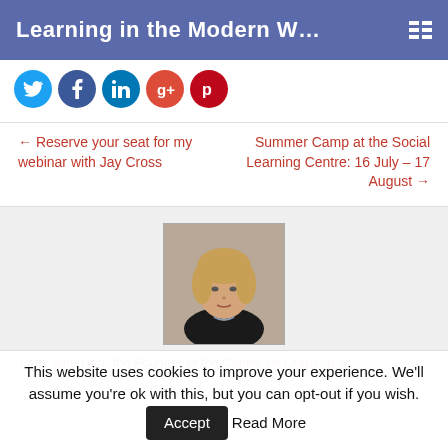Learning in the Modern W...
[Figure (other): Row of social media share buttons: Twitter (blue), Facebook (dark blue), LinkedIn (blue), Google+ (red), Pinterest (dark red)]
← Reserve your seat for my webinar with Jay Cross
Summer Camp at the Social Learning Centre: 16 July – 17 August →
[Figure (photo): Headshot photo of a middle-aged blonde woman wearing a dark top and necklace, photographed indoors]
I am Jane Hart, the Founder of the Centre for Learning &
This website uses cookies to improve your experience. We'll assume you're ok with this, but you can opt-out if you wish.  Accept  Read More